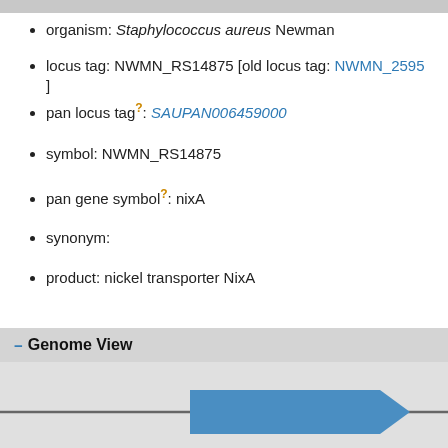organism: Staphylococcus aureus Newman
locus tag: NWMN_RS14875 [old locus tag: NWMN_2595]
pan locus tag?: SAUPAN006459000
symbol: NWMN_RS14875
pan gene symbol?: nixA
synonym:
product: nickel transporter NixA
Genome View
[Figure (other): Genome diagram showing two blue arrow-shaped gene features on a horizontal gray line indicating genomic position]